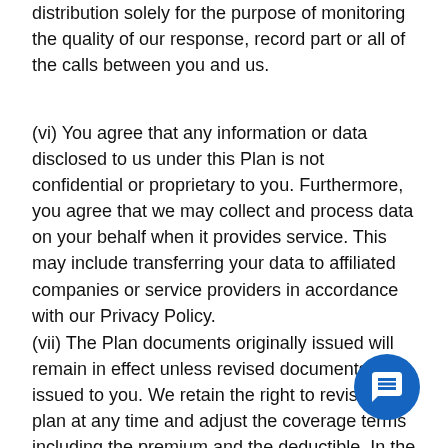distribution solely for the purpose of monitoring the quality of our response, record part or all of the calls between you and us.
(vi) You agree that any information or data disclosed to us under this Plan is not confidential or proprietary to you. Furthermore, you agree that we may collect and process data on your behalf when it provides service. This may include transferring your data to affiliated companies or service providers in accordance with our Privacy Policy.
(vii) The Plan documents originally issued will remain in effect unless revised documents are issued to you. We retain the right to revise the plan at any time and adjust the coverage terms including the premium and the deductible. In the event of a material change, you will be provided thirty (30) days advance written notice of such changes. You may cancel coverage at any time without penalty, but if you continue to pay premiums after a change in premiums, coverage terms or the